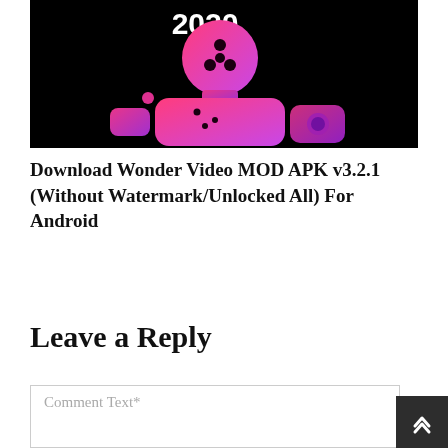[Figure (illustration): App promotional image with dark/black background showing a stylized pink/magenta gradient character resembling a video reel or camera mascot with the text '2020' in white at the top. The character has rounded shapes, a camera reel head with holes, and geometric body parts in pink-to-purple gradient.]
Download Wonder Video MOD APK v3.2.1 (Without Watermark/Unlocked All) For Android
Leave a Reply
Comment Text*